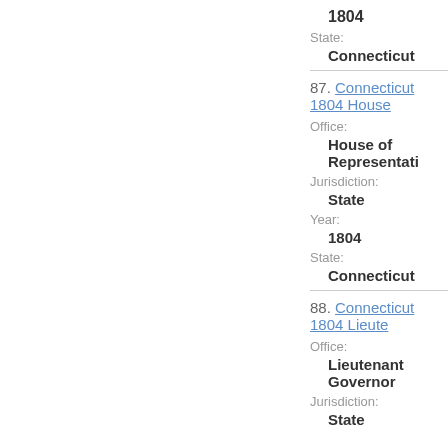1804
State:
Connecticut
87. Connecticut 1804 House
Office:
House of Representatives
Jurisdiction:
State
Year:
1804
State:
Connecticut
88. Connecticut 1804 Lieute
Office:
Lieutenant Governor
Jurisdiction:
State